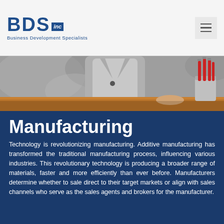BDS inc — Business Development Specialists
[Figure (photo): A person in a grey blazer standing at a wooden table with a tin can holding red-handled tools in the background, on a grey textured wall.]
Manufacturing
Technology is revolutionizing manufacturing. Additive manufacturing has transformed the traditional manufacturing process, influencing various industries. This revolutionary technology is producing a broader range of materials, faster and more efficiently than ever before. Manufacturers determine whether to sale direct to their target markets or align with sales channels who serve as the sales agents and brokers for the manufacturer.